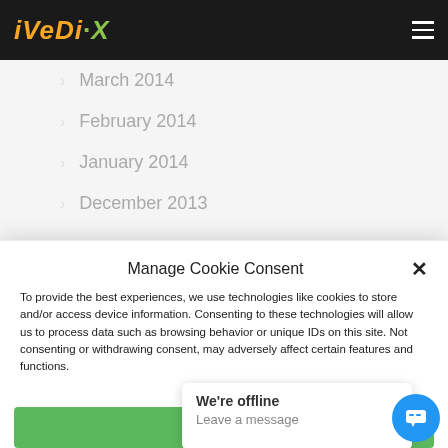iVeDiX
March 2014
February 2014
January 2014
December 2013
Manage Cookie Consent
To provide the best experiences, we use technologies like cookies to store and/or access device information. Consenting to these technologies will allow us to process data such as browsing behavior or unique IDs on this site. Not consenting or withdrawing consent, may adversely affect certain features and functions.
Accept
We're offline
Leave a message